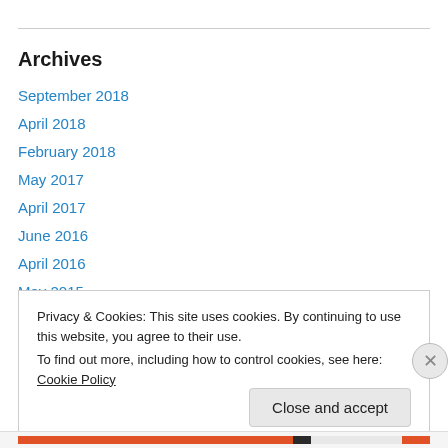Archives
September 2018
April 2018
February 2018
May 2017
April 2017
June 2016
April 2016
May 2015
April 2015
Privacy & Cookies: This site uses cookies. By continuing to use this website, you agree to their use.
To find out more, including how to control cookies, see here: Cookie Policy
Close and accept